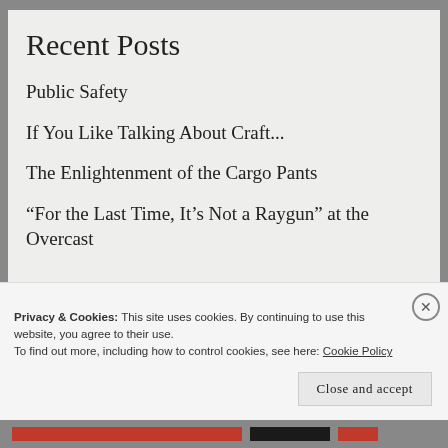Recent Posts
Public Safety
If You Like Talking About Craft...
The Enlightenment of the Cargo Pants
“For the Last Time, It’s Not a Raygun” at the Overcast
Privacy & Cookies: This site uses cookies. By continuing to use this website, you agree to their use.
To find out more, including how to control cookies, see here: Cookie Policy
Close and accept